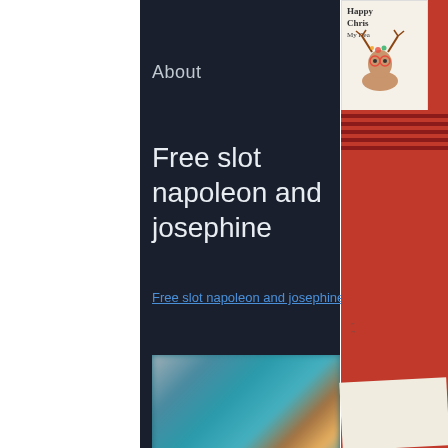About
Free slot napoleon and josephine
Free slot napoleon and josephine
[Figure (screenshot): Blurred screenshot of a slot game featuring animated characters with teal/cyan background tones in upper half and dark purple/maroon tones in lower half]
[Figure (photo): Partial photograph of Christmas-themed items including a Happy Christmas greeting card with a deer illustration, red plaid background, and handwritten note on paper]